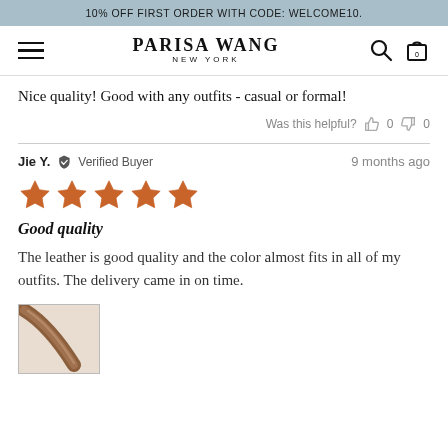10% OFF FIRST ORDER WITH CODE: WELCOME10.
[Figure (screenshot): Parisa Wang New York navigation bar with hamburger menu, logo, search and cart icons]
Nice quality! Good with any outfits - casual or formal!
Was this helpful? 0 0
Jie Y.  Verified Buyer   9 months ago
[Figure (other): 5 star rating shown as orange stars]
Good quality
The leather is good quality and the color almost fits in all of my outfits. The delivery came in on time.
[Figure (photo): Photo of a leather bag strap in brown/tan color]